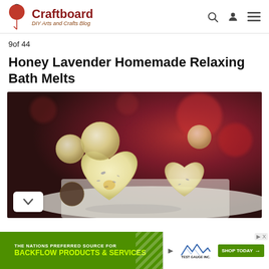Craftboard — DIY Arts and Crafts Blog
9of 44
Honey Lavender Homemade Relaxing Bath Melts
[Figure (photo): Close-up photo of homemade honey lavender bath melts shaped as hearts and balls, pale yellow color with lavender specks, placed on a white surface with blurred red/dark background]
[Figure (infographic): Advertisement banner: green background with 'THE NATIONS PREFERRED SOURCE FOR BACKFLOW PRODUCTS & SERVICES', Test Gauge Inc. logo, SHOP TODAY button, and close/play controls]